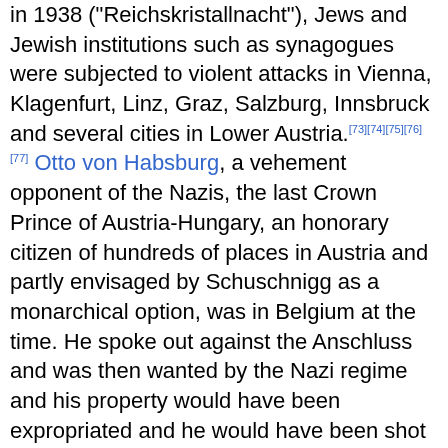in 1938 ("Reichskristallnacht"), Jews and Jewish institutions such as synagogues were subjected to violent attacks in Vienna, Klagenfurt, Linz, Graz, Salzburg, Innsbruck and several cities in Lower Austria.[73][74][75][76][77] Otto von Habsburg, a vehement opponent of the Nazis, the last Crown Prince of Austria-Hungary, an honorary citizen of hundreds of places in Austria and partly envisaged by Schuschnigg as a monarchical option, was in Belgium at the time. He spoke out against the Anschluss and was then wanted by the Nazi regime and his property would have been expropriated and he would have been shot immediately if he were caught.[78] In 1938, the Nazis renamed Austria the " Ostmark",[87] a name which it had until 1942, when it was renamed the "Alpine and Danubian Gaue" (Alpen-und Donau-Reichsgaue).[79][80]